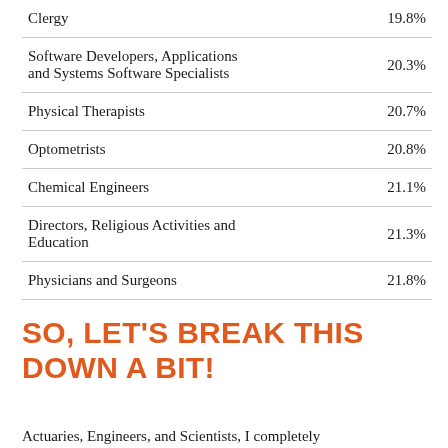| Occupation | Percentage |
| --- | --- |
| Clergy | 19.8% |
| Software Developers, Applications and Systems Software Specialists | 20.3% |
| Physical Therapists | 20.7% |
| Optometrists | 20.8% |
| Chemical Engineers | 21.1% |
| Directors, Religious Activities and Education | 21.3% |
| Physicians and Surgeons | 21.8% |
SO, LET'S BREAK THIS DOWN A BIT!
Actuaries, Engineers, and Scientists, I completely